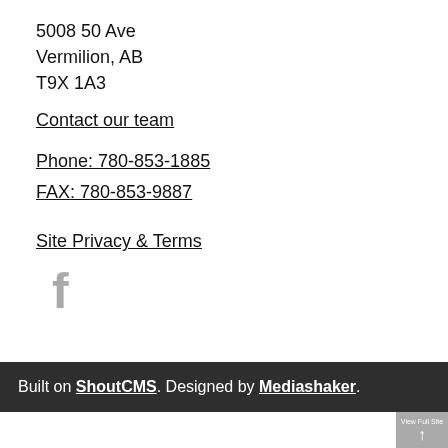5008 50 Ave
Vermilion, AB
T9X 1A3
Contact our team
Phone: 780-853-1885
FAX: 780-853-9887
Site Privacy & Terms
[Figure (illustration): Facebook social media icon in grey]
Built on ShoutCMS. Designed by Mediashaker.